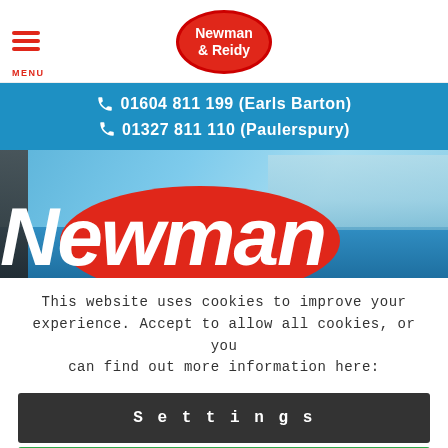MENU | Newman & Reidy
01604 811 199 (Earls Barton)
01327 811 110 (Paulerspury)
[Figure (photo): Exterior storefront photo showing 'Newman' text on a red oval sign against a blue sky and glass building]
This website uses cookies to improve your experience. Accept to allow all cookies, or you can find out more information here:
Settings
Accept all cookies ✓